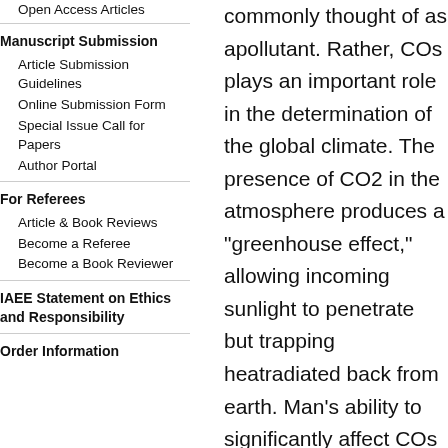Open Access Articles
Manuscript Submission
Article Submission Guidelines
Online Submission Form
Special Issue Call for Papers
Author Portal
For Referees
Article & Book Reviews
Become a Referee
Become a Book Reviewer
IAEE Statement on Ethics and Responsibility
Order Information
commonly thought of as apollutant. Rather, COs plays an important role in the determination of the global climate. The presence of CO2 in the atmosphere produces a "greenhouse effect," allowing incoming sunlight to penetrate but trapping heatradiated back from earth. Man's ability to significantly affect COs levels through use of fossil fuel gives rise to the possibility of climate